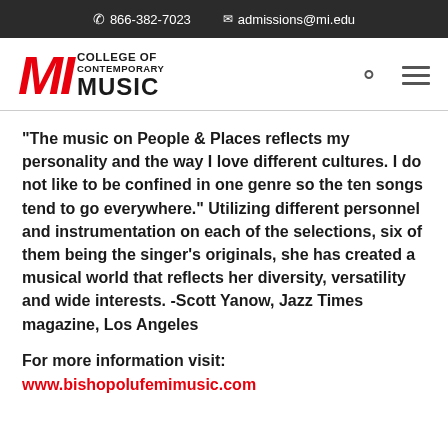866-382-7023   admissions@mi.edu
[Figure (logo): MI College of Contemporary Music logo with red italic MI letters and black text]
“The music on People & Places reflects my personality and the way I love different cultures. I do not like to be confined in one genre so the ten songs tend to go everywhere.” Utilizing different personnel and instrumentation on each of the selections, six of them being the singer’s originals, she has created a musical world that reflects her diversity, versatility and wide interests. -Scott Yanow, Jazz Times magazine, Los Angeles
For more information visit:
www.bishopolufemimusic.com